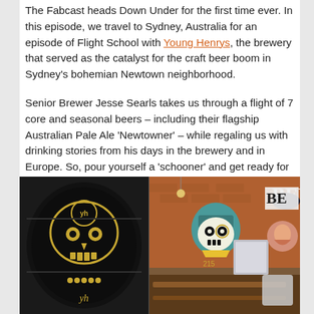The Fabcast heads Down Under for the first time ever. In this episode, we travel to Sydney, Australia for an episode of Flight School with Young Henrys, the brewery that served as the catalyst for the craft beer boom in Sydney's bohemian Newtown neighborhood.
Senior Brewer Jesse Searls takes us through a flight of 7 core and seasonal beers – including their flagship Australian Pale Ale 'Newtowner' – while regaling us with drinking stories from his days in the brewery and in Europe. So, pour yourself a 'schooner' and get ready for a crash course in Australian beer!
[Figure (photo): Photo of Young Henrys brewery in Newtown, Sydney. Left panel shows a large black keg/barrel with skull and 'yh' Young Henrys branding in gold. Right panel shows the brewery taproom interior with murals including a pirate skull character and a woman, brick walls, industrial lighting, and wooden bench seating.]